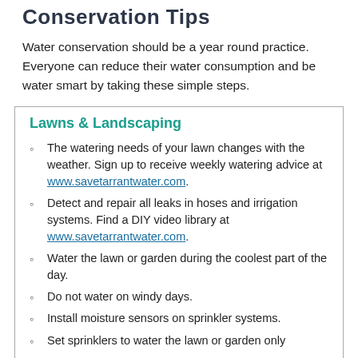Conservation Tips
Water conservation should be a year round practice. Everyone can reduce their water consumption and be water smart by taking these simple steps.
Lawns & Landscaping
The watering needs of your lawn changes with the weather. Sign up to receive weekly watering advice at www.savetarrantwater.com.
Detect and repair all leaks in hoses and irrigation systems. Find a DIY video library at www.savetarrantwater.com.
Water the lawn or garden during the coolest part of the day.
Do not water on windy days.
Install moisture sensors on sprinkler systems.
Set sprinklers to water the lawn or garden only...